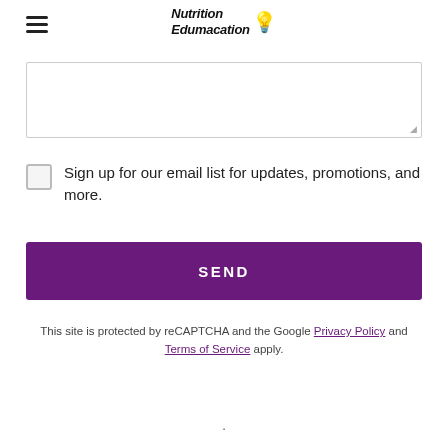Nutrition Edumacation
Sign up for our email list for updates, promotions, and more.
SEND
This site is protected by reCAPTCHA and the Google Privacy Policy and Terms of Service apply.
.